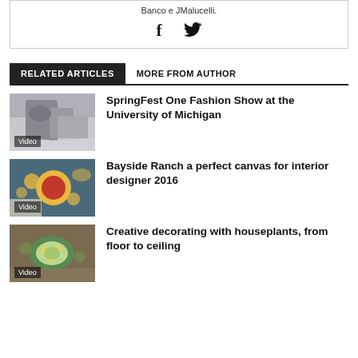Banco e JMalucelli.
[Figure (other): Facebook and Twitter social share icons]
RELATED ARTICLES
MORE FROM AUTHOR
[Figure (photo): Thumbnail image with Video label - person holding coffee cup with tattoos]
SpringFest One Fashion Show at the University of Michigan
[Figure (photo): Thumbnail image with Video label - food spread on blue background]
Bayside Ranch a perfect canvas for interior designer 2016
[Figure (photo): Thumbnail image with Video label - salad bowls overhead]
Creative decorating with houseplants, from floor to ceiling